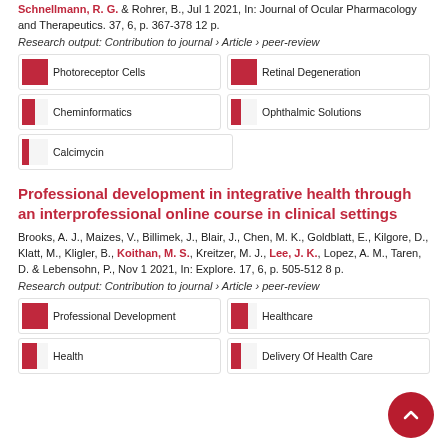Schnellmann, R. G. & Rohrer, B., Jul 1 2021, In: Journal of Ocular Pharmacology and Therapeutics. 37, 6, p. 367-378 12 p.
Research output: Contribution to journal › Article › peer-review
[Figure (infographic): Five keyword badges with percentage fill indicators: Photoreceptor Cells 100%, Retinal Degeneration 100%, Cheminformatics ~50%, Ophthalmic Solutions ~38%, Calcimycin ~28%]
Professional development in integrative health through an interprofessional online course in clinical settings
Brooks, A. J., Maizes, V., Billimek, J., Blair, J., Chen, M. K., Goldblatt, E., Kilgore, D., Klatt, M., Kligler, B., Koithan, M. S., Kreitzer, M. J., Lee, J. K., Lopez, A. M., Taren, D. & Lebensohn, P., Nov 1 2021, In: Explore. 17, 6, p. 505-512 8 p.
Research output: Contribution to journal › Article › peer-review
[Figure (infographic): Four keyword badges with percentage fill indicators: Professional Development 100%, Healthcare ~65%, Health ~60%, Delivery Of Health Care ~38%]